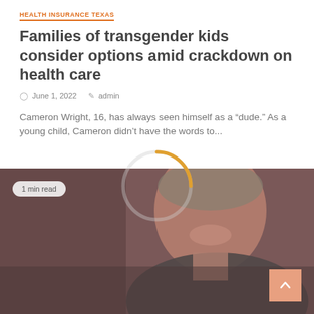HEALTH INSURANCE TEXAS
Families of transgender kids consider options amid crackdown on health care
June 1, 2022   admin
Cameron Wright, 16, has always seen himself as a “dude.” As a young child, Cameron didn’t have the words to...
[Figure (photo): Photo of a man speaking, overlaid with a circular loading spinner (orange and gray arc). A '1 min read' badge is visible on the lower left of the image area. A back-to-top arrow button appears in the bottom right.]